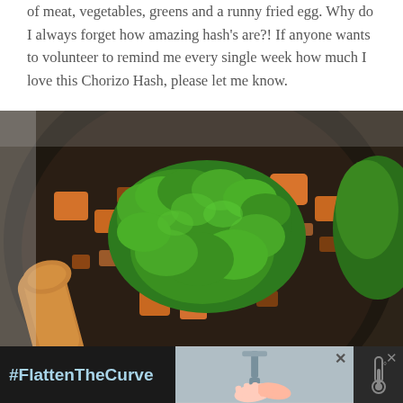of meat, vegetables, greens and a runny fried egg. Why do I always forget how amazing hash's are?! If anyone wants to volunteer to remind me every single week how much I love this Chorizo Hash, please let me know.
[Figure (photo): Overhead close-up photo of a dark cast-iron skillet containing a chorizo hash with curly kale greens, chunks of sweet potato, and crumbled sausage, with a wooden spoon visible on the left side.]
[Figure (photo): Advertisement banner at the bottom: dark background with '#FlattenTheCurve' text in blue on the left, a photo of hands being washed under a faucet in the center, a close X button, and a thermometer icon on the right.]